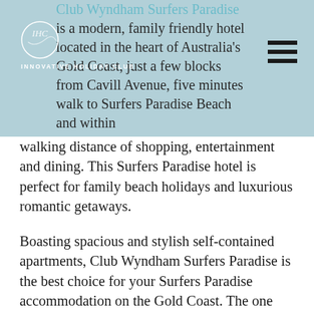[Figure (logo): IHC Innovative Holiday Club logo with circular emblem and text]
Club Wyndham Surfers Paradise is a modern, family friendly hotel located in the heart of Australia's Gold Coast, just a few blocks from Cavill Avenue, five minutes walk to Surfers Paradise Beach and within walking distance of shopping, entertainment and dining. This Surfers Paradise hotel is perfect for family beach holidays and luxurious romantic getaways.
Boasting spacious and stylish self-contained apartments, Club Wyndham Surfers Paradise is the best choice for your Surfers Paradise accommodation on the Gold Coast. The one and two-bedroom deluxe apartments on the Gold Coast combine contemporary décor with practical holiday living, featuring spacious balconies, and fully equipped kitchen and laundry.
The impressive hotel facilities include a restaurant and café precinct on the ground floor, pool, spa and gym, plus meeting and event facilities. The covered